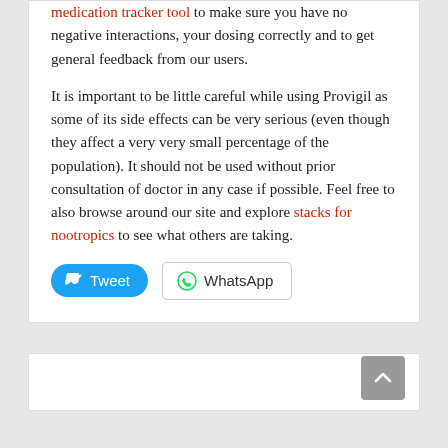medication tracker tool to make sure you have no negative interactions, your dosing correctly and to get general feedback from our users.
It is important to be little careful while using Provigil as some of its side effects can be very serious (even though they affect a very very small percentage of the population). It should not be used without prior consultation of doctor in any case if possible. Feel free to also browse around our site and explore stacks for nootropics to see what others are taking.
[Figure (other): Tweet and WhatsApp share buttons]